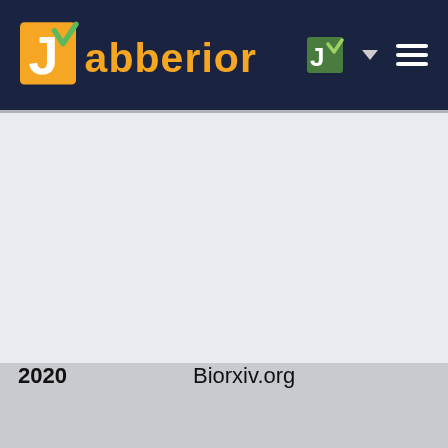[Figure (logo): Jabberior brand logo and navigation header on dark navy background with hamburger menu]
| Year | Journal | Authors |  |
| --- | --- | --- | --- |
|  |  |  |  |
| 2020 | Biorxiv.org | N. Mazaré et al. |  |
| 2020 | PNAS | T. Le et al. |  |
| 2020 | Cell Reports | Patrick |  |